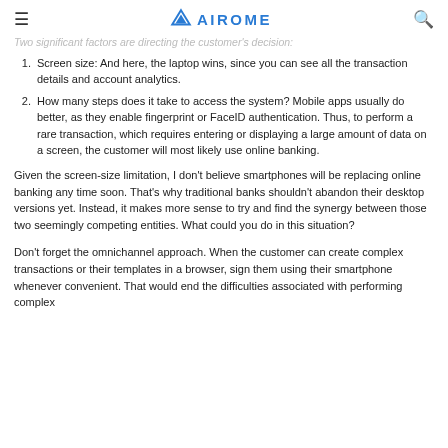≡   AIROME   🔍
Two significant factors are directing the customer's decision:
Screen size: And here, the laptop wins, since you can see all the transaction details and account analytics.
How many steps does it take to access the system? Mobile apps usually do better, as they enable fingerprint or FaceID authentication. Thus, to perform a rare transaction, which requires entering or displaying a large amount of data on a screen, the customer will most likely use online banking.
Given the screen-size limitation, I don't believe smartphones will be replacing online banking any time soon. That's why traditional banks shouldn't abandon their desktop versions yet. Instead, it makes more sense to try and find the synergy between those two seemingly competing entities. What could you do in this situation?
Don't forget the omnichannel approach. When the customer can create complex transactions or their templates in a browser, sign them using their smartphone whenever convenient. That would end the difficulties associated with performing complex